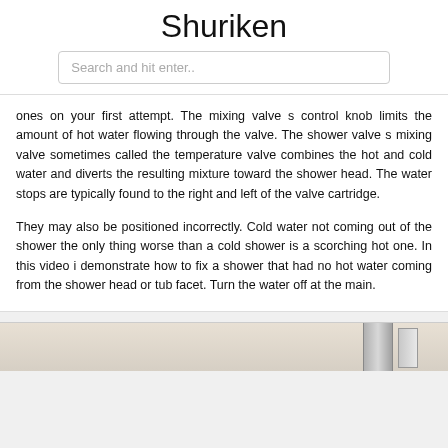Shuriken
Search and hit enter..
ones on your first attempt. The mixing valve s control knob limits the amount of hot water flowing through the valve. The shower valve s mixing valve sometimes called the temperature valve combines the hot and cold water and diverts the resulting mixture toward the shower head. The water stops are typically found to the right and left of the valve cartridge.
They may also be positioned incorrectly. Cold water not coming out of the shower the only thing worse than a cold shower is a scorching hot one. In this video i demonstrate how to fix a shower that had no hot water coming from the shower head or tub facet. Turn the water off at the main.
[Figure (photo): Photo of a shower valve/faucet fixture against a light marble/stone wall background.]